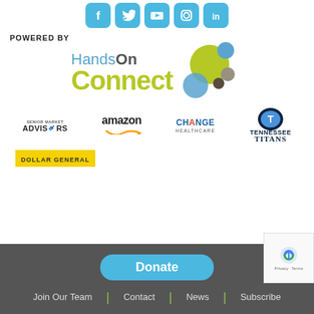[Figure (illustration): Row of social media icon buttons: Facebook, Twitter, YouTube, Instagram, LinkedIn — all in light blue rounded squares]
POWERED BY
[Figure (logo): HandsOn Connect logo with colorful circles]
[Figure (logo): Sponsor logos: Senior Market Advisors, Amazon, Change Healthcare, Tennessee Titans]
[Figure (logo): Dollar General logo yellow badge]
Donate
Join Our Team | Contact | News | Subscribe